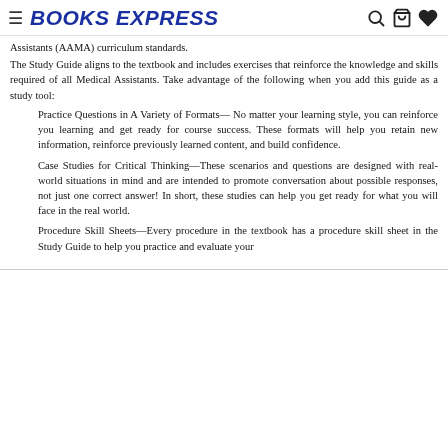BOOKS EXPRESS
Assistants (AAMA) curriculum standards.
The Study Guide aligns to the textbook and includes exercises that reinforce the knowledge and skills required of all Medical Assistants. Take advantage of the following when you add this guide as a study tool:
Practice Questions in A Variety of Formats— No matter your learning style, you can reinforce you learning and get ready for course success. These formats will help you retain new information, reinforce previously learned content, and build confidence.
Case Studies for Critical Thinking—These scenarios and questions are designed with real-world situations in mind and are intended to promote conversation about possible responses, not just one correct answer! In short, these studies can help you get ready for what you will face in the real world.
Procedure Skill Sheets—Every procedure in the textbook has a procedure skill sheet in the Study Guide to help you practice and evaluate your